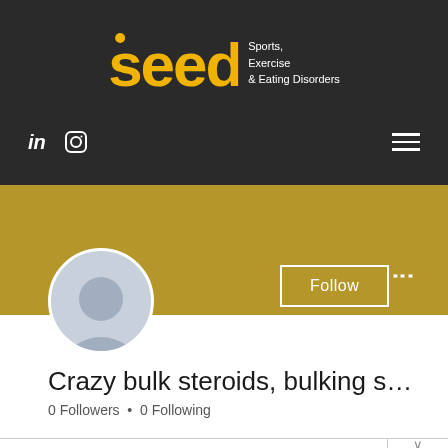[Figure (logo): SEED logo - Sports, Exercise & Eating Disorders - yellow text on dark background with social icons and hamburger menu]
[Figure (photo): Default user avatar profile picture - grey silhouette on light blue-grey background, circular crop]
Crazy bulk steroids, bulking s…
0 Followers • 0 Following